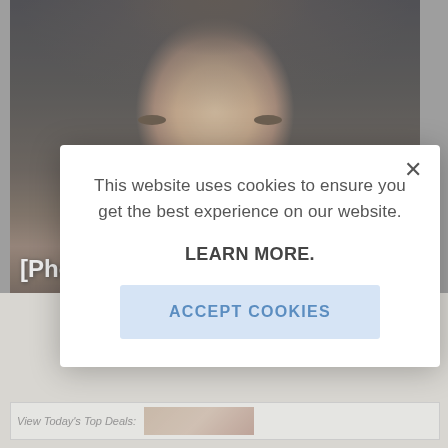[Figure (photo): Close-up photo of a middle-aged man with dark hair and intense gaze, partial view on dark background]
[Photos] At 46, This Is David Muir's
This website uses cookies to ensure you get the best experience on our website.
LEARN MORE.
ACCEPT COOKIES